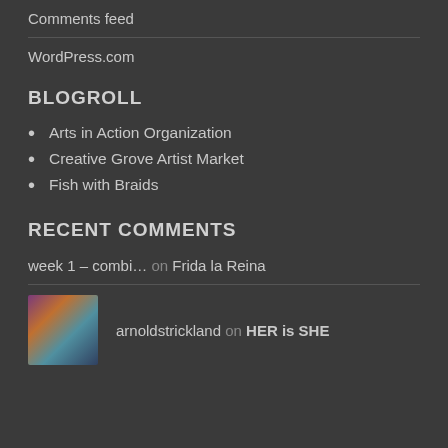Comments feed
WordPress.com
BLOGROLL
Arts in Action Organization
Creative Grove Artist Market
Fish with Braids
RECENT COMMENTS
week 1 – combi… on Frida la Reina
arnoldstrickland on HER is SHE